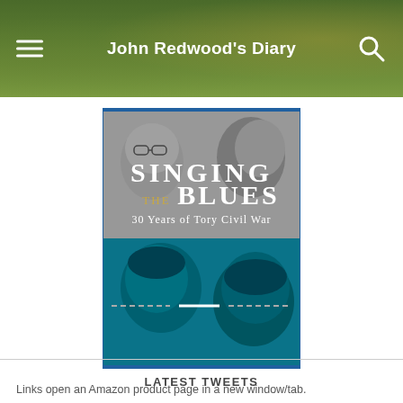John Redwood's Diary
[Figure (photo): Book cover for 'Singing the Blues: 30 Years of Tory Civil War' showing black and white and teal-tinted collage of political figures]
Links open an Amazon product page in a new window/tab.
LATEST TWEETS